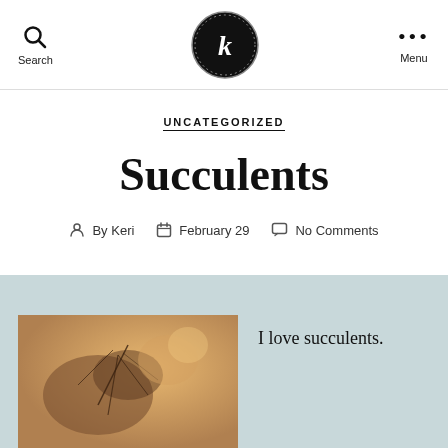Search  [K logo]  Menu
UNCATEGORIZED
Succulents
By Keri   February 29   No Comments
[Figure (photo): Close-up photo of a succulent plant with bokeh background]
I love succulents.